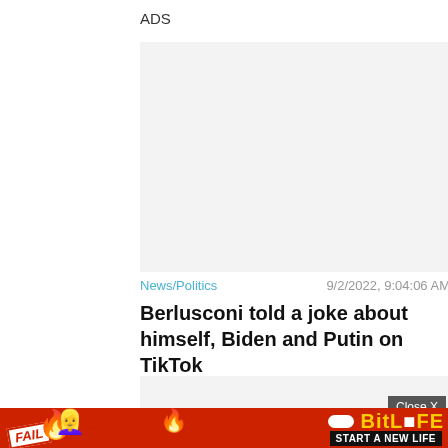ADS
[Figure (other): Empty gray advertisement placeholder box]
News/Politics
9/2/2022, 9:04:06 AM
Berlusconi told a joke about himself, Biden and Putin on TikTok
[Figure (other): Gray advertisement placeholder box with Close X button]
[Figure (other): BitLife mobile game advertisement banner with FAIL text and START A NEW LIFE slogan on red background]